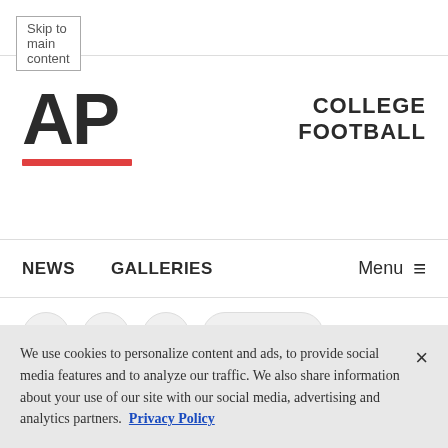Skip to main content
[Figure (logo): AP (Associated Press) logo in bold dark text with red underline bar, and 'COLLEGE FOOTBALL' text to the right]
NEWS   GALLERIES   Menu ≡
[Figure (screenshot): Social share buttons: Facebook, Twitter, Email icons and a Share button, partially visible]
We use cookies to personalize content and ads, to provide social media features and to analyze our traffic. We also share information about your use of our site with our social media, advertising and analytics partners. Privacy Policy